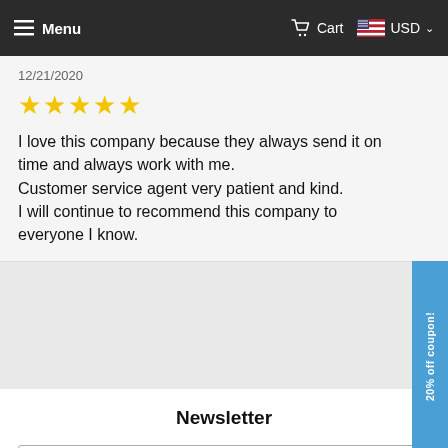Menu  Cart  USD
12/21/2020
[Figure (other): Five yellow stars rating]
I love this company because they always send it on time and always work with me.
Customer service agent very patient and kind.
I will continue to recommend this company to everyone I know.
Newsletter
Email Address  SIGN U
20% off coupon!